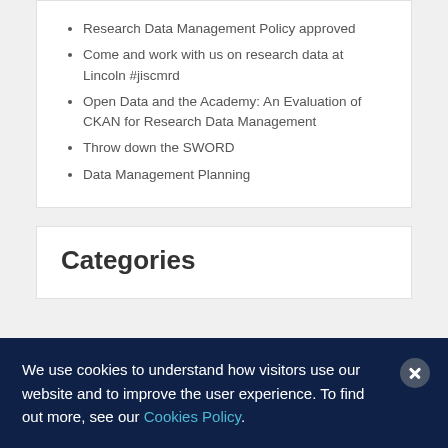Research Data Management Policy approved
Come and work with us on research data at Lincoln #jiscmrd
Open Data and the Academy: An Evaluation of CKAN for Research Data Management
Throw down the SWORD
Data Management Planning
Categories
We use cookies to understand how visitors use our website and to improve the user experience. To find out more, see our Cookies Policy.